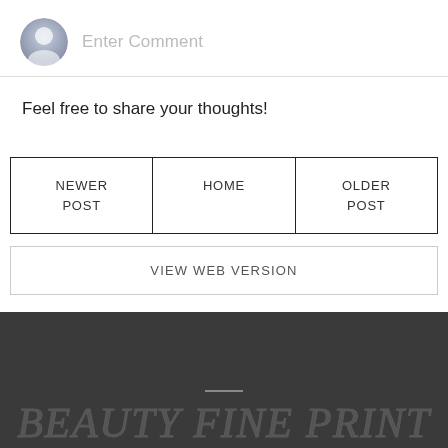[Figure (other): User avatar icon — gray circular profile silhouette]
Enter Comment
Feel free to share your thoughts!
NEWER POST
HOME
OLDER POST
VIEW WEB VERSION
BEAUTY FINE PRINT